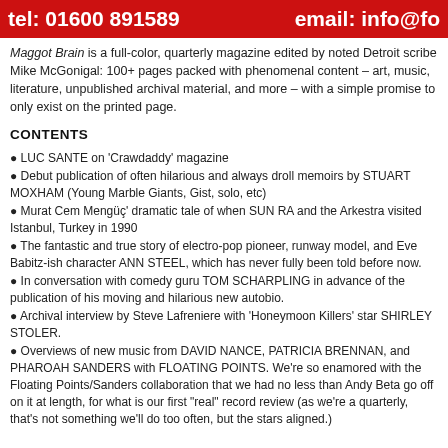tel: 01600 891589   email: info@fo
Maggot Brain is a full-color, quarterly magazine edited by noted Detroit scribe Mike McGonigal: 100+ pages packed with phenomenal content – art, music, literature, unpublished archival material, and more – with a simple promise to only exist on the printed page.
CONTENTS
LUC SANTE on 'Crawdaddy' magazine
Debut publication of often hilarious and always droll memoirs by STUART MOXHAM (Young Marble Giants, Gist, solo, etc)
Murat Cem Mengüç' dramatic tale of when SUN RA and the Arkestra visited Istanbul, Turkey in 1990
The fantastic and true story of electro-pop pioneer, runway model, and Eve Babitz-ish character ANN STEEL, which has never fully been told before now.
In conversation with comedy guru TOM SCHARPLING in advance of the publication of his moving and hilarious new autobio.
Archival interview by Steve Lafreniere with 'Honeymoon Killers' star SHIRLEY STOLER.
Overviews of new music from DAVID NANCE, PATRICIA BRENNAN, and PHAROAH SANDERS with FLOATING POINTS. We're so enamored with the Floating Points/Sanders collaboration that we had no less than Andy Beta go off on it at length, for what is our first "real" record review (as we're a quarterly, that's not something we'll do too often, but the stars aligned.)